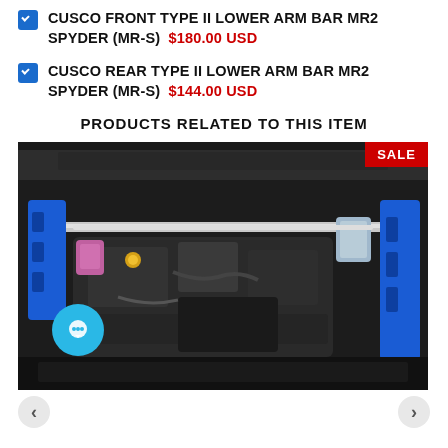CUSCO FRONT TYPE II LOWER ARM BAR MR2 SPYDER (MR-S) $180.00 USD
CUSCO REAR TYPE II LOWER ARM BAR MR2 SPYDER (MR-S) $144.00 USD
PRODUCTS RELATED TO THIS ITEM
[Figure (photo): Engine bay photo showing a car engine compartment with blue strut tower bar and other performance parts installed. A red SALE badge is in the top-right corner. A teal chat bubble icon is in the lower-left.]